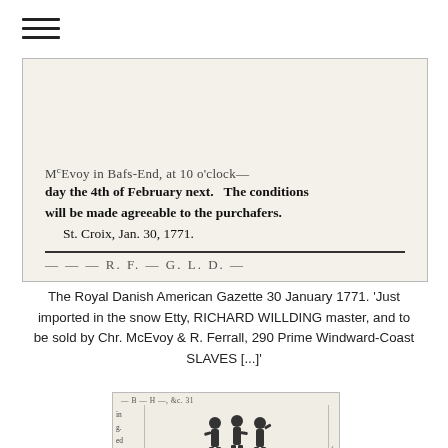[Figure (photo): Scanned newspaper clipping showing text: 'M-Evoy in Bass-End, at 10 o'clock day the 4th of February next. The conditions will be made agreeable to the purchasers. St. Croix, Jan. 30, 1771.' followed by a decorative divider line]
The Royal Danish American Gazette 30 January 1771. 'Just imported in the snow Etty, RICHARD WILLDING master, and to be sold by Chr. McEvoy & R. Ferrall, 290 Prime Windward-Coast SLAVES [...]'
[Figure (photo): Scanned newspaper advertisement showing silhouette figures of enslaved people and text: 'To be sold by McEvoy and Skerrett, On Thursday next the 4th instant, at 10 o'clock before forenoon, at their store in Bass End. 54 Choice Gold Coast Slaves, being one quarter part of the car-']